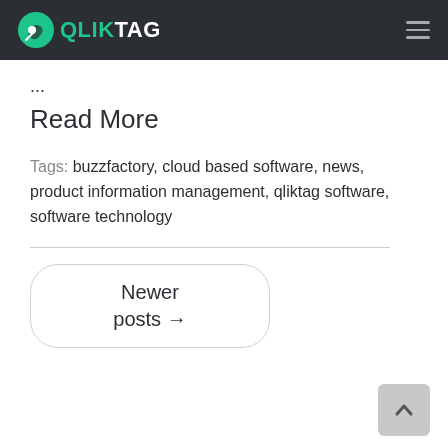QLIKTAG
...
Read More
Tags: buzzfactory, cloud based software, news, product information management, qliktag software, software technology
Newer posts →